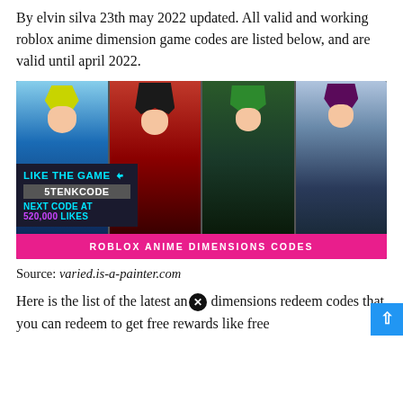By elvin silva 23th may 2022 updated. All valid and working roblox anime dimension game codes are listed below, and are valid until april 2022.
[Figure (photo): Roblox Anime Dimensions game promotional image showing four anime-style Roblox characters side by side, with an overlay box showing 'LIKE THE GAME', code '5TENKCODE', 'NEXT CODE AT 520,000 LIKES', and a pink bottom banner reading 'ROBLOX ANIME DIMENSIONS CODES']
Source: varied.is-a-painter.com
Here is the list of the latest anime dimensions redeem codes that you can redeem to get free rewards like free